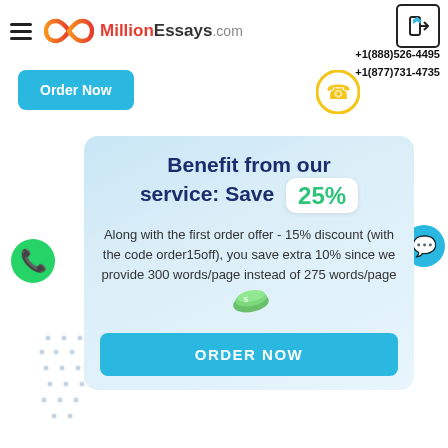[Figure (logo): MillionEssays.com logo with infinity symbol in orange/red gradient and text]
+1(888)526-4495
+1(877)731-4735
Order Now
[Figure (illustration): Yellow phone circle icon]
[Figure (illustration): Blue chat bubble icon on right side]
[Figure (illustration): Green WhatsApp phone circle on left side]
Benefit from our service: Save 25%
Along with the first order offer - 15% discount (with the code order15off), you save extra 10% since we provide 300 words/page instead of 275 words/page
ORDER NOW